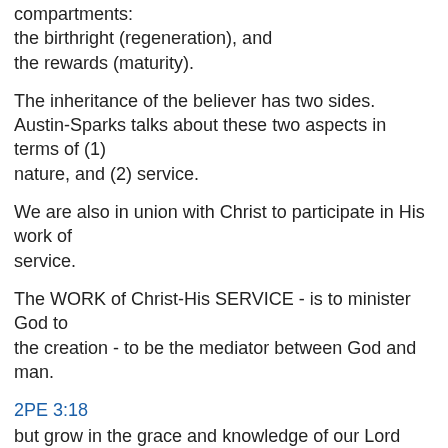compartments: the birthright (regeneration), and the rewards (maturity).
The inheritance of the believer has two sides. Austin-Sparks talks about these two aspects in terms of (1) nature, and (2) service.
We are also in union with Christ to participate in His work of service.
The WORK of Christ-His SERVICE - is to minister God to the creation - to be the mediator between God and man.
2PE 3:18
but grow in the grace and knowledge of our Lord and Savior Jesus Christ. To Him be the glory, both now and to the day of eternity. Amen.
As the mediator between God and man, Christ has three offices:
prophet, priest, and king.
The prophet speaks the message of God to the people. He explains God to the people.
The priest speaks and acts on behalf of the people to God